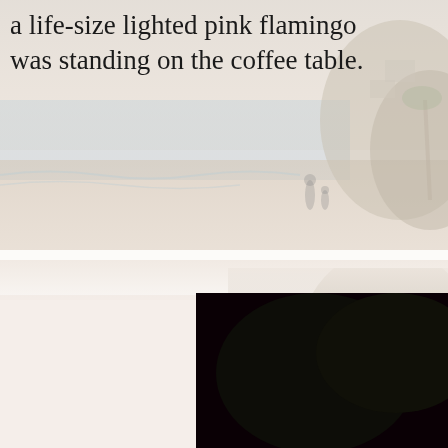[Figure (photo): Faded beach scene background image showing sandy beach, ocean waves, and coastal cliffs with houses. Two figures visible near the water. Appears twice: once at top and once at bottom-right corner.]
a life-size lighted pink flamingo was standing on the coffee table.
[Figure (photo): Night photograph of a life-size flamingo sculpture made of wire mesh and covered in bright pink/magenta LED lights, standing against a dark background. The flamingo is in a naturalistic pose with decorative plant elements also lit in pink lights nearby.]